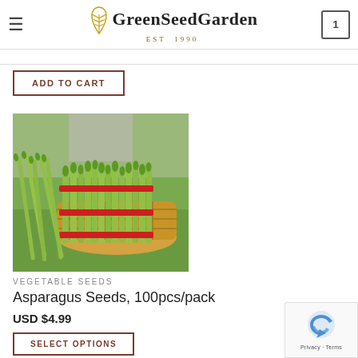GreenSeedGarden EST 1990
ADD TO CART
[Figure (photo): Bundles of fresh green asparagus stalks in a wicker basket, outdoors]
VEGETABLE SEEDS
Asparagus Seeds, 100pcs/pack
USD $4.99
SELECT OPTIONS